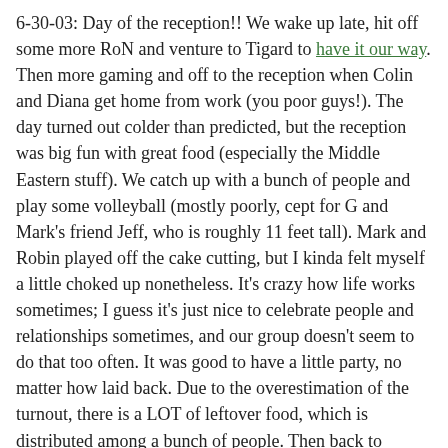6-30-03: Day of the reception!! We wake up late, hit off some more RoN and venture to Tigard to have it our way. Then more gaming and off to the reception when Colin and Diana get home from work (you poor guys!). The day turned out colder than predicted, but the reception was big fun with great food (especially the Middle Eastern stuff). We catch up with a bunch of people and play some volleyball (mostly poorly, cept for G and Mark's friend Jeff, who is roughly 11 feet tall). Mark and Robin played off the cake cutting, but I kinda felt myself a little choked up nonetheless. It's crazy how life works sometimes; I guess it's just nice to celebrate people and relationships sometimes, and our group doesn't seem to do that too often. It was good to have a little party, no matter how laid back. Due to the overestimation of the turnout, there is a LOT of leftover food, which is distributed among a bunch of people. Then back to C&D's where George commences demolishing the Chinese and the BBQ leftovers. More RoN and GTA as well.
7-1-03: Wake late and game a little, then we hit the road and